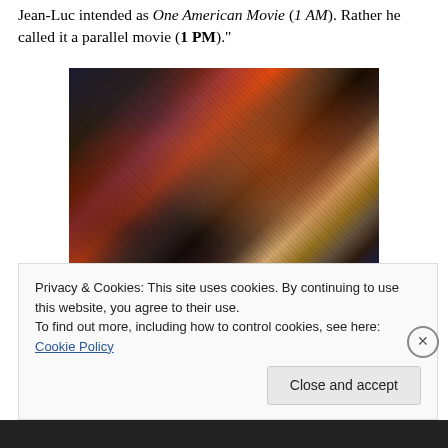Jean-Luc intended as One American Movie (1 AM). Rather he called it a parallel movie (1 PM)."
[Figure (photo): A person wearing a large feathered headdress with orange and red feathers, looking down and holding a box, set against a dark background with branch-like structures. Film still with dark, moody tones.]
Privacy & Cookies: This site uses cookies. By continuing to use this website, you agree to their use.
To find out more, including how to control cookies, see here: Cookie Policy